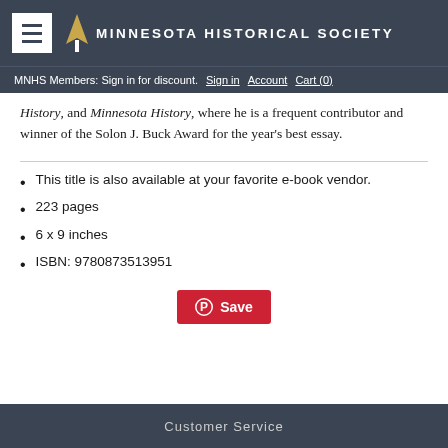MINNESOTA HISTORICAL SOCIETY
MNHS Members: Sign in for discount. Sign in  Account  Cart (0)
History, and Minnesota History, where he is a frequent contributor and winner of the Solon J. Buck Award for the year's best essay.
This title is also available at your favorite e-book vendor.
223 pages
6 x 9 inches
ISBN: 9780873513951
[Figure (other): Pinterest Save button in red]
Customer Service